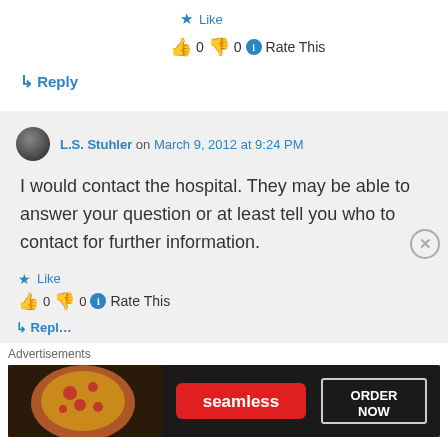★ Like
👍 0 👎 0 ℹ Rate This
↳ Reply
L.S. Stuhler on March 9, 2012 at 9:24 PM
I would contact the hospital. They may be able to answer your question or at least tell you who to contact for further information.
★ Like
👍 0 👎 0 ℹ Rate This
[Figure (screenshot): Seamless food ordering advertisement banner with pizza image, Seamless logo, and ORDER NOW button]